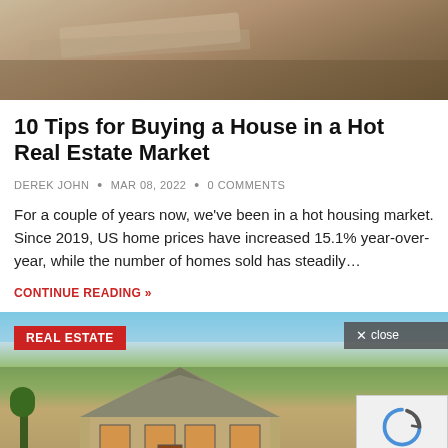[Figure (photo): Top photo showing house keys on a wooden surface]
10 Tips for Buying a House in a Hot Real Estate Market
DEREK JOHN • MAR 08, 2022 • 0 COMMENTS
For a couple of years now, we've been in a hot housing market. Since 2019, US home prices have increased 15.1% year-over-year, while the number of homes sold has steadily…
CONTINUE READING »
[Figure (photo): Photo of a suburban house with blue sky and REAL ESTATE badge, plus a close button and reCAPTCHA widget]